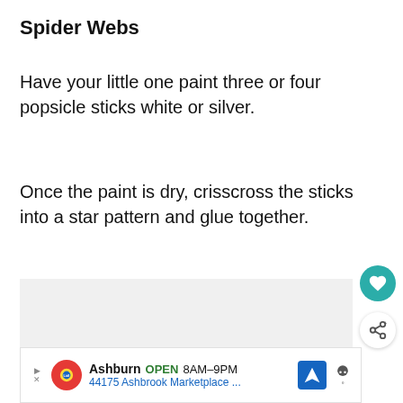Spider Webs
Have your little one paint three or four popsicle sticks white or silver.
Once the paint is dry, crisscross the sticks into a star pattern and glue together.
[Figure (screenshot): UI buttons and promoted content panel: heart/favorite button (teal circle), share button (white circle), and a 'WHAT'S NEXT' promo card showing 'September Crafts for Ki...' with a colorful circular thumbnail]
[Figure (screenshot): Advertisement banner for Lidl store in Ashburn: OPEN 8AM-9PM, 44175 Ashbrook Marketplace ..., with navigation and Waze icons]